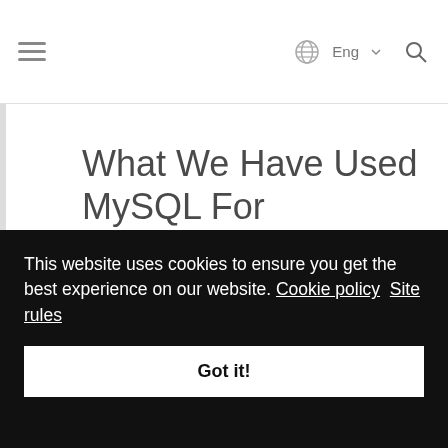≡  Eng ▾ 🔍
What We Have Used MySQL For
This section describes an early application for MySQL.
During MySQL initial development, the features of MySQL were made to fit our largest customer, which handled data
This website uses cookies to ensure you get the best experience on our website. Cookie policy  Site rules
Got it!